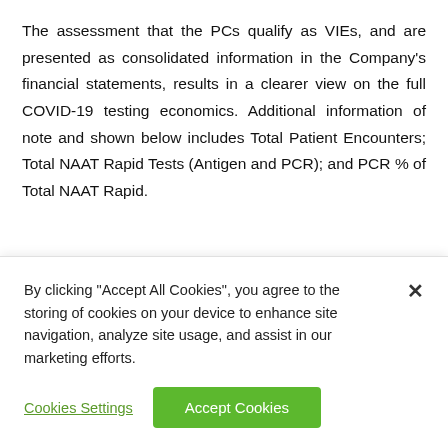The assessment that the PCs qualify as VIEs, and are presented as consolidated information in the Company's financial statements, results in a clearer view on the full COVID-19 testing economics. Additional information of note and shown below includes Total Patient Encounters; Total NAAT Rapid Tests (Antigen and PCR); and PCR % of Total NAAT Rapid.
Total Patients By Quarter
[Figure (other): Partial chart/graph visible with tab headers, truncated by cookie banner overlay]
By clicking "Accept All Cookies", you agree to the storing of cookies on your device to enhance site navigation, analyze site usage, and assist in our marketing efforts.